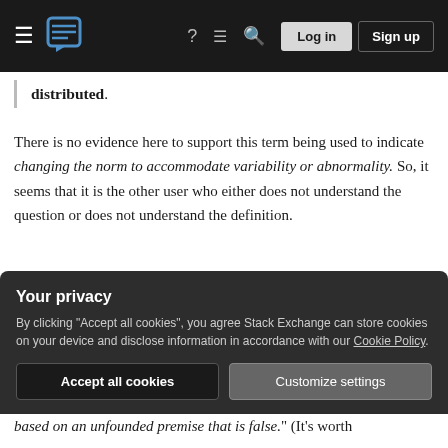Stack Exchange navigation bar with hamburger menu, logo, help, chat, search, log in, and sign up buttons
distributed.
There is no evidence here to support this term being used to indicate changing the norm to accommodate variability or abnormality. So, it seems that it is the other user who either does not understand the question or does not understand the definition.
The second member voting to close says: "I'm voting to close this question because it's based on an unfounded, false premise, specifically that the so-called "new sense"
Your privacy
By clicking "Accept all cookies", you agree Stack Exchange can store cookies on your device and disclose information in accordance with our Cookie Policy.
based on an unfounded premise that is false." (It's worth